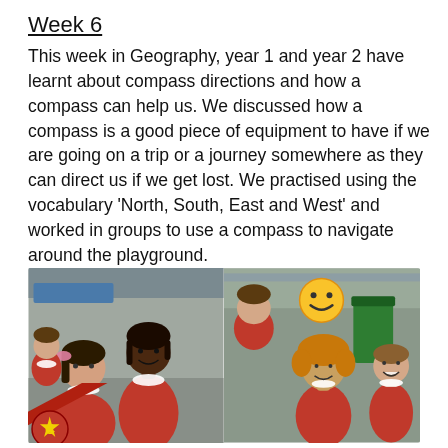Week 6
This week in Geography, year 1 and year 2 have learnt about compass directions and how a compass can help us. We discussed how a compass is a good piece of equipment to have if we are going on a trip or a journey somewhere as they can direct us if we get lost. We practised using the vocabulary 'North, South, East and West' and worked in groups to use a compass to navigate around the playground.
[Figure (photo): Two photos side by side of young children in red school uniforms standing in a playground. Left photo shows two girls, one smiling at the camera. Right photo shows three children laughing and smiling, with a green waste bin and fence in background. A smiley face emoji is overlaid on the right photo. A red badge with letter C and a red diagonal stripe appear at the bottom left.]